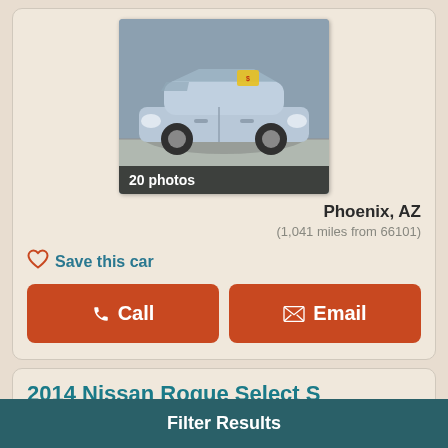[Figure (photo): Silver compact car (Nissan Versa Note) photographed outdoors in a parking area/driveway. Car has a yellow price sticker on windshield. Overlay text '20 photos' at bottom.]
Phoenix, AZ
(1,041 miles from 66101)
Save this car
Call
Email
2014 Nissan Rogue Select S
Mileage:
(mo est.)
Filter Results